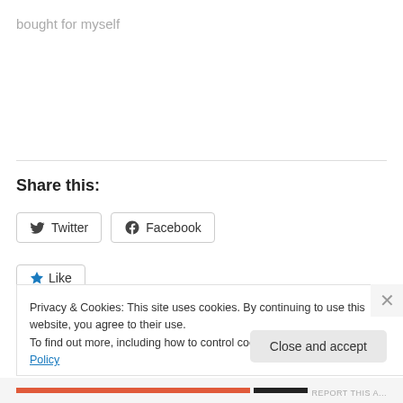bought for myself
Share this:
[Figure (screenshot): Twitter and Facebook share buttons]
[Figure (screenshot): Like button with star icon]
Privacy & Cookies: This site uses cookies. By continuing to use this website, you agree to their use.
To find out more, including how to control cookies, see here: Cookie Policy
Close and accept